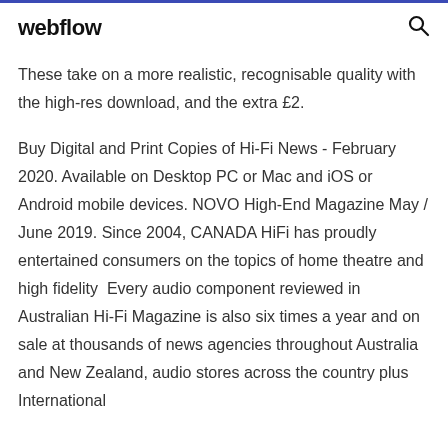webflow
These take on a more realistic, recognisable quality with the high-res download, and the extra £2.
Buy Digital and Print Copies of Hi-Fi News - February 2020. Available on Desktop PC or Mac and iOS or Android mobile devices. NOVO High-End Magazine May / June 2019. Since 2004, CANADA HiFi has proudly entertained consumers on the topics of home theatre and high fidelity  Every audio component reviewed in Australian Hi-Fi Magazine is also six times a year and on sale at thousands of news agencies throughout Australia and New Zealand, audio stores across the country plus International